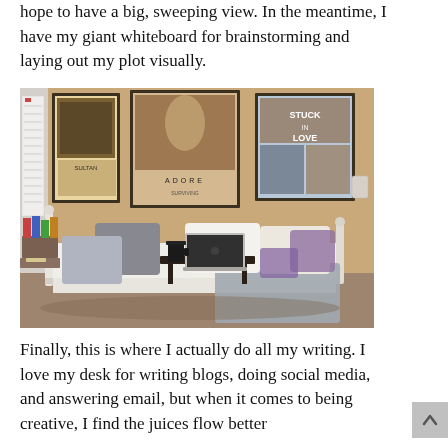hope to have a big, sweeping view. In the meantime, I have my giant whiteboard for brainstorming and laying out my plot visually.
[Figure (photo): A cozy writing nook with a white iron daybed covered in white bedding and purple/grey pillows. A laptop sits on a portable bed tray table with a mug. Movie posters hang on the wall behind (including 'Adore' and 'Stuck in Love'). Books are stacked on a small side table to the left.]
Finally, this is where I actually do all my writing. I love my desk for writing blogs, doing social media, and answering email, but when it comes to being creative, I find the juices flow better